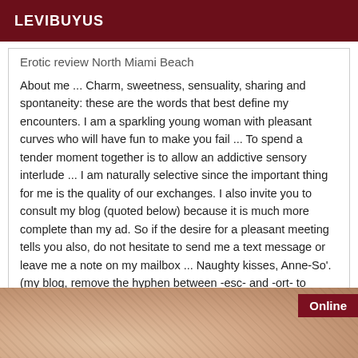LEVIBUYUS
Erotic review North Miami Beach
About me ... Charm, sweetness, sensuality, sharing and spontaneity: these are the words that best define my encounters. I am a sparkling young woman with pleasant curves who will have fun to make you fail ... To spend a tender moment together is to allow an addictive sensory interlude ... I am naturally selective since the important thing for me is the quality of our exchanges. I also invite you to consult my blog (quoted below) because it is much more complete than my ad. So if the desire for a pleasant meeting tells you also, do not hesitate to send me a text message or leave me a note on my mailbox ... Naughty kisses, Anne-So'. (my blog, remove the hyphen between -esc- and -ort- to access it)
[Figure (photo): Partial photo of a person, with an 'Online' badge in the top right corner on a dark red background.]